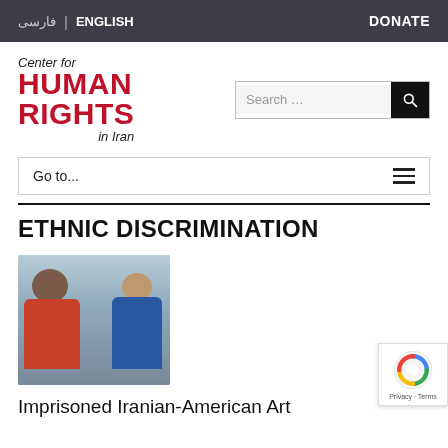فارسی | ENGLISH    DONATE
[Figure (logo): Center for HUMAN RIGHTS in Iran logo with red block text and search bar]
Go to...
ETHNIC DISCRIMINATION
[Figure (photo): Two people posing together outdoors, one in a red shirt]
Imprisoned Iranian-American Art